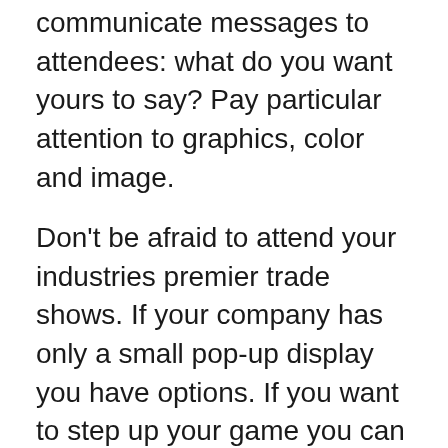communicate messages to attendees: what do you want yours to say? Pay particular attention to graphics, color and image.
Don't be afraid to attend your industries premier trade shows. If your company has only a small pop-up display you have options. If you want to step up your game you can dominate the floor by exploring rental trade show displays. Team One has rental displays including very large booth designs that can be customized for your brand.